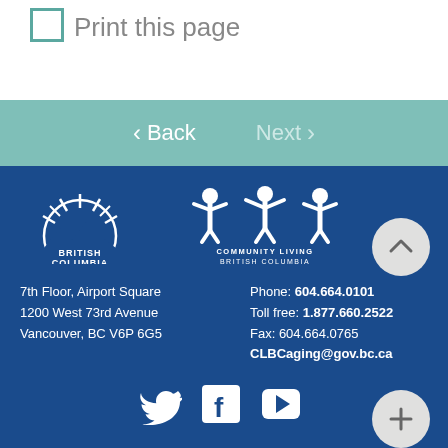Print this page
Back   Next
[Figure (logo): British Columbia government logo with stylized sun/mountains and text 'BRITISH COLUMBIA']
[Figure (logo): Community Living British Columbia logo with figures holding hands and text 'COMMUNITY LIVING BRITISH COLUMBIA']
7th Floor, Airport Square
1200 West 73rd Avenue
Vancouver, BC V6P 6G5
Phone: 604.664.0101
Toll free: 1.877.660.2522
Fax: 604.664.0765
CLBCaging@gov.bc.ca
[Figure (other): Social media icons: Twitter, Facebook, YouTube]
[Figure (other): Up arrow circle button and plus circle button (FABs)]